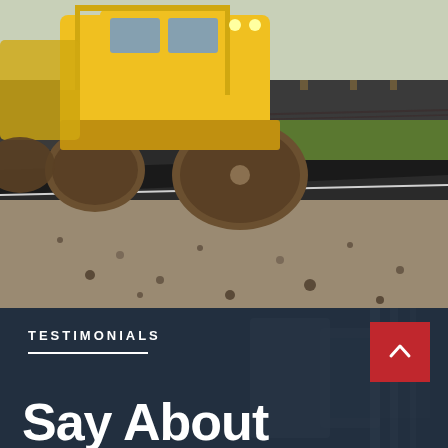[Figure (photo): A yellow road roller / steam roller compacting fresh asphalt on a road construction site. Gravel and newly laid asphalt visible in the foreground, green trees and fence in background.]
TESTIMONIALS
Say About